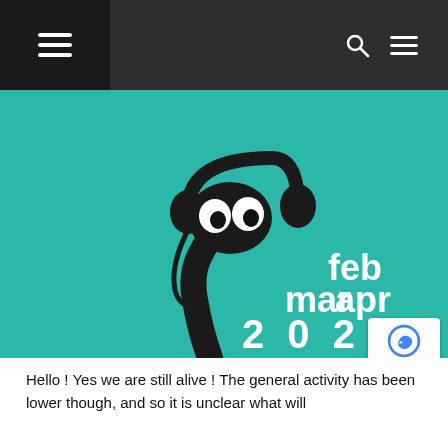Navigation header with hamburger menu, search icon, and menu icon
[Figure (illustration): Teal/turquoise background illustration featuring a cartoon black snake or worm character wearing headphones with large white eyes, with overlaid text reading 'feb', 'mar', 'apr', '2 0 2 1' in white bold font]
Hello ! Yes we are still alive ! The general activity has been lower though, and so it is unclear what will